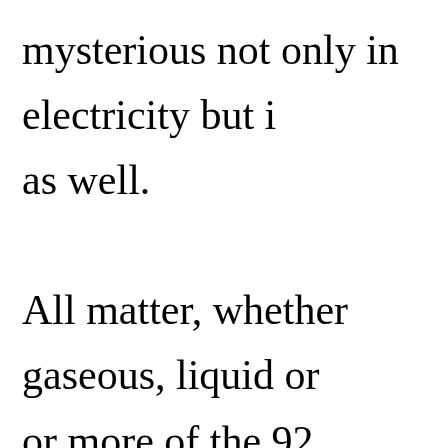mysterious not only in electricity but i as well. All matter, whether gaseous, liquid or or more of the 92 fundamental chemic substances of the universe that cannot anything else by chemical means. Nin thus far been isolated, from hydrogen abundant) to uranium (the heaviest an atom is the smallest particle of a give